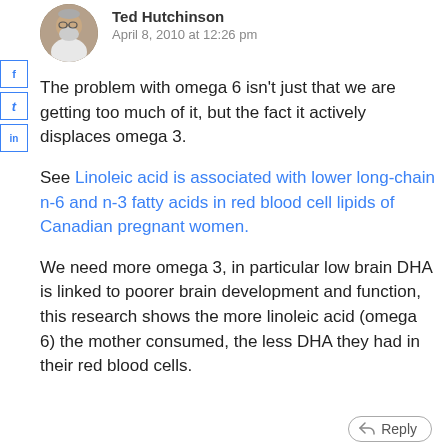Ted Hutchinson
April 8, 2010 at 12:26 pm
The problem with omega 6 isn't just that we are getting too much of it, but the fact it actively displaces omega 3.
See Linoleic acid is associated with lower long-chain n-6 and n-3 fatty acids in red blood cell lipids of Canadian pregnant women.
We need more omega 3, in particular low brain DHA is linked to poorer brain development and function, this research shows the more linoleic acid (omega 6) the mother consumed, the less DHA they had in their red blood cells.